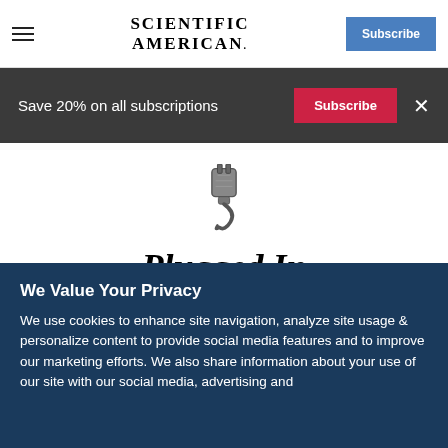Scientific American
Save 20% on all subscriptions
[Figure (illustration): An illustrated electric plug icon with a cord, rendered in a detailed engraving style]
Plugged In
We Value Your Privacy
We use cookies to enhance site navigation, analyze site usage & personalize content to provide social media features and to improve our marketing efforts. We also share information about your use of our site with our social media, advertising and